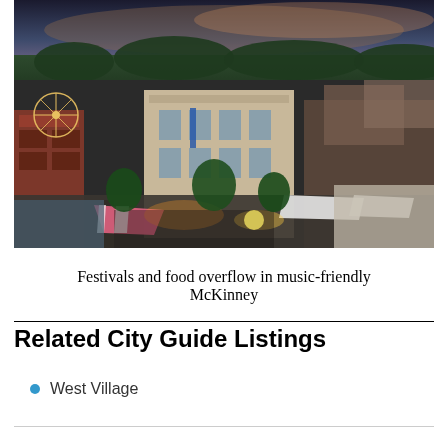[Figure (photo): Aerial dusk view of McKinney, Texas downtown area with crowds of people attending a street festival, a ferris wheel visible on the left, a large beige courthouse building in the center, food vendor tents, and tree-lined streets surrounded by brick commercial buildings.]
Festivals and food overflow in music-friendly McKinney
Related City Guide Listings
West Village